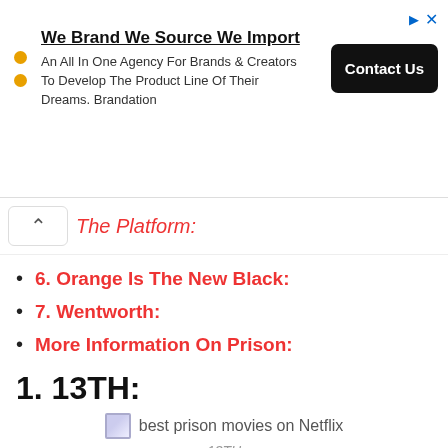[Figure (other): Advertisement banner: 'We Brand We Source We Import' - An All In One Agency For Brands & Creators To Develop The Product Line Of Their Dreams. Brandation. Contact Us button.]
The Platform:
6. Orange Is The New Black:
7. Wentworth:
More Information On Prison:
1. 13TH:
[Figure (photo): Image placeholder for best prison movies on Netflix]
13TH
This one is all about the US Constitution that